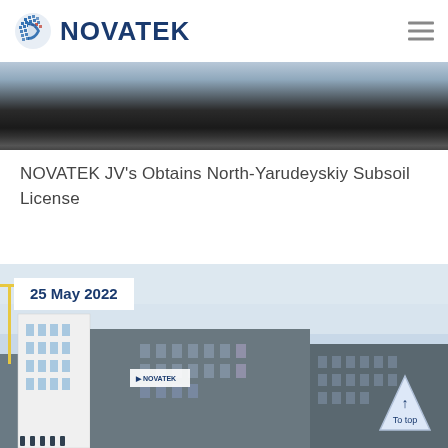NOVATEK
[Figure (photo): Aerial/wide landscape photo showing dark water or road surface with cloudy sky strip at top]
NOVATEK JV's Obtains North-Yarudeyskiy Subsoil License
[Figure (photo): Photo of NOVATEK industrial/office buildings complex with date badge '25 May 2022' and 'To top' navigation button]
25 May 2022